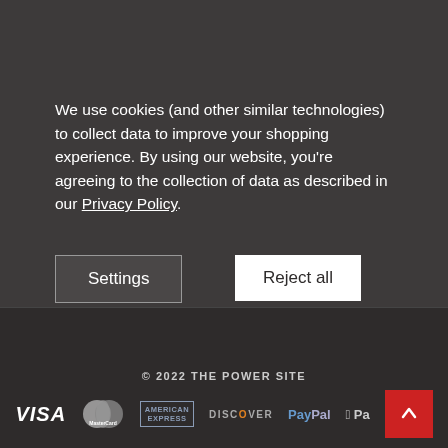We use cookies (and other similar technologies) to collect data to improve your shopping experience. By using our website, you're agreeing to the collection of data as described in our Privacy Policy.
[Figure (screenshot): Cookie consent dialog with three buttons: Settings (dark background with border), Reject all (white background), and Accept All Cookies (white background)]
© 2022 THE POWER SITE
[Figure (infographic): Payment method icons: VISA, MasterCard, American Express, Discover, PayPal, Apple Pay, and a red scroll-to-top button]